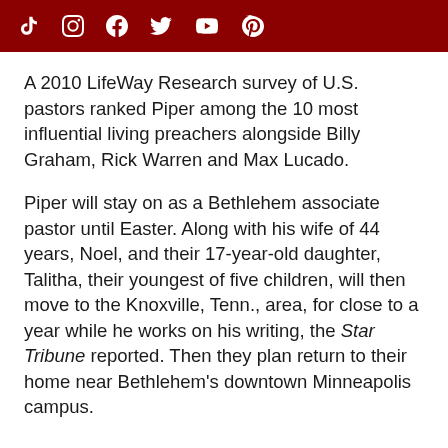[Social media icons: TikTok, Instagram, Facebook, Twitter, YouTube, Pinterest]
A 2010 LifeWay Research survey of U.S. pastors ranked Piper among the 10 most influential living preachers alongside Billy Graham, Rick Warren and Max Lucado.
Piper will stay on as a Bethlehem associate pastor until Easter. Along with his wife of 44 years, Noel, and their 17-year-old daughter, Talitha, their youngest of five children, will then move to the Knoxville, Tenn., area, for close to a year while he works on his writing, the Star Tribune reported. Then they plan return to their home near Bethlehem's downtown Minneapolis campus.